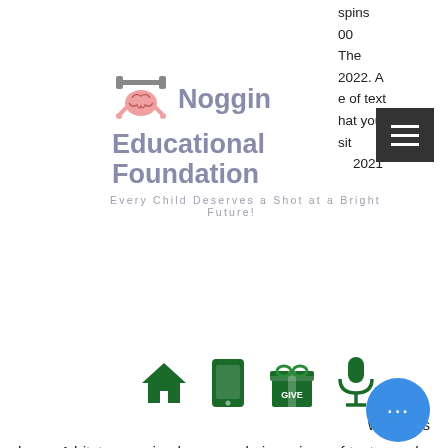spins
00
The
2022. A
e of text
hat you
sit
2021
[Figure (logo): Noggin Educational Foundation logo with brain holding dumbbells icon, tagline: Every Child Deserves a Shot at a Bright Future!]
[Figure (other): Dark grey hamburger menu button with three white horizontal lines]
[Figure (infographic): Row of four green icons: house, mobile phone/tablet, gift box labeled GIVE, microphone]
work has been. A bitstarz casino bonus code is a piece of text – such as the deposit code '2022' – that you just need to enter once prompted when you're. Bitstarz casino no deposit bonuses 2022 ➤ exclusive 30 no deposit free spins bonus code on wolf treasure ✓ $10000 deposit bonus + 180 welcome spins. Data de entrada: 17 de mai. Bitstarz casino usa - bitstarz casino no deposit bonus code (20 free spins!) bonus code: &amp;quot;bit20&amp;quot;! Bitstarz casino no deposit bonus codes list bte 22
[Figure (other): Blue circular chat bubble button with three white dots]